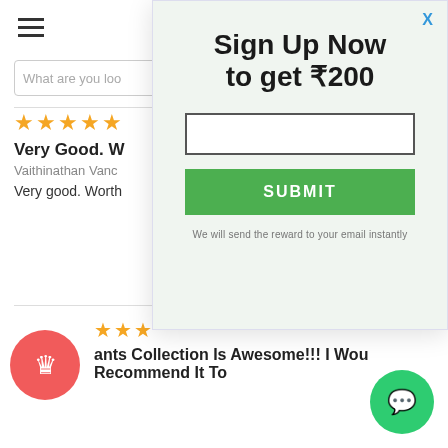[Figure (screenshot): Hamburger menu icon (three horizontal lines) in the top left corner of the background page]
What are you loo
★★★★★
Very Good. W
Vaithinathan Vanc
Very good. Worth
[Figure (screenshot): Sign Up Now modal popup with heading 'Sign Up Now to get ₹200', an email input field, a green SUBMIT button, and note 'We will send the reward to your email instantly'. A blue X close button is in the top right.]
Report as Inappropriate
★★★
ants Collection Is Awesome!!! I Wou Recommend It To
[Figure (illustration): Red circle with crown icon (royalty badge)]
[Figure (illustration): Green circle with chat bubble icon]